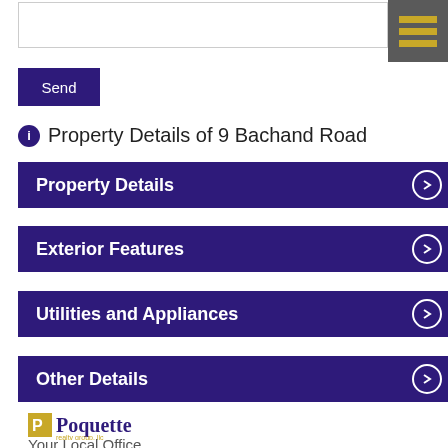[Figure (screenshot): Text input box (form field) at top of page]
[Figure (other): Hamburger menu button (dark gray with three gold horizontal bars) in top-right corner]
Send
Property Details of 9 Bachand Road
Property Details
Exterior Features
Utilities and Appliances
Other Details
[Figure (logo): Poquette Realty Group LLC logo with gold icon and purple text]
Your Local Office
Email Us About This